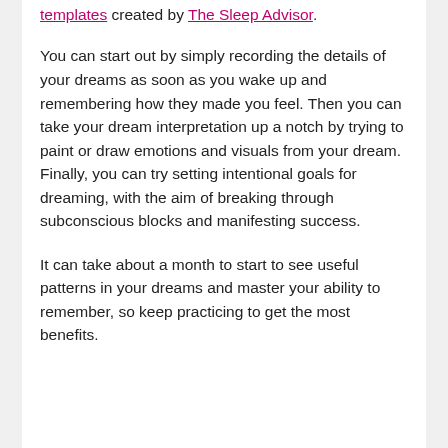templates created by The Sleep Advisor.
You can start out by simply recording the details of your dreams as soon as you wake up and remembering how they made you feel. Then you can take your dream interpretation up a notch by trying to paint or draw emotions and visuals from your dream. Finally, you can try setting intentional goals for dreaming, with the aim of breaking through subconscious blocks and manifesting success.
It can take about a month to start to see useful patterns in your dreams and master your ability to remember, so keep practicing to get the most benefits.